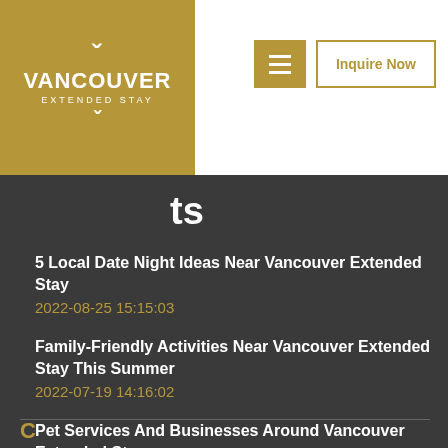[Figure (logo): Vancouver Extended Stay logo — white V letterform above VANCOUVER EXTENDED STAY text, white on gold background]
Inquire Now
...ts
5 Local Date Night Ideas Near Vancouver Extended Stay
2022-08-25 15:15:03
Family-Friendly Activities Near Vancouver Extended Stay This Summer
2022-07-19 14:16:02
Pet Services And Businesses Around Vancouver Extended Stay
2022-06-17 16:02:18